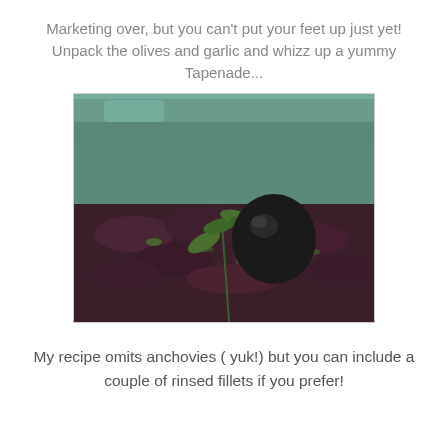Marketing over, but you can't put your feet up just yet! Unpack the olives and garlic and whizz up a yummy Tapenade...
[Figure (photo): Close-up photo of tapenade (chopped olive paste) in a brown ceramic bowl, garnished with a whole black olive and a sprig of fresh herbs.]
My recipe omits anchovies ( yuk!) but you can include a couple of rinsed fillets if you prefer!